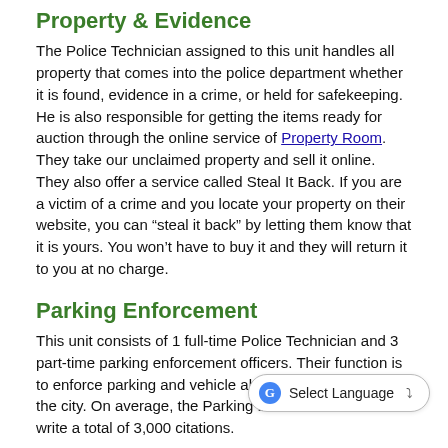Property & Evidence
The Police Technician assigned to this unit handles all property that comes into the police department whether it is found, evidence in a crime, or held for safekeeping. He is also responsible for getting the items ready for auction through the online service of Property Room. They take our unclaimed property and sell it online. They also offer a service called Steal It Back. If you are a victim of a crime and you locate your property on their website, you can “steal it back” by letting them know that it is yours. You won’t have to buy it and they will return it to you at no charge.
Parking Enforcement
This unit consists of 1 full-time Police Technician and 3 part-time parking enforcement officers. Their function is to enforce parking and vehicle abatement laws within the city. On average, the Parking E... write a total of 3,000 citations.